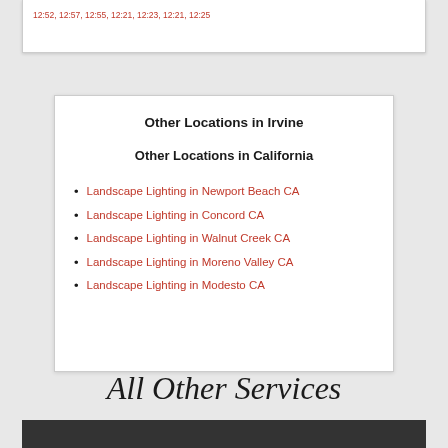12:52, 12:57, 12:55, 12:21, 12:23, 12:21, 12:25
Other Locations in Irvine
Other Locations in California
Landscape Lighting in Newport Beach CA
Landscape Lighting in Concord CA
Landscape Lighting in Walnut Creek CA
Landscape Lighting in Moreno Valley CA
Landscape Lighting in Modesto CA
All Other Services
[Figure (photo): Dark outdoor photo at bottom of page]